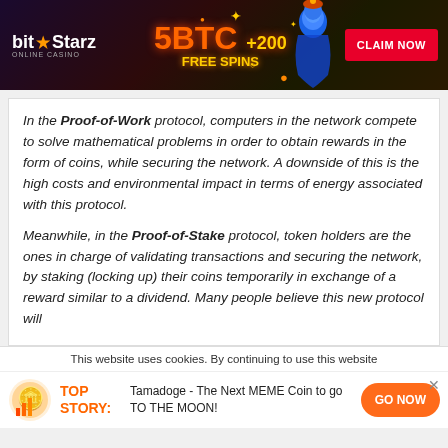[Figure (screenshot): BitStarz online casino banner ad with '5BTC +200 FREE SPINS' offer and 'CLAIM NOW' button, featuring a genie character on dark background]
In the Proof-of-Work protocol, computers in the network compete to solve mathematical problems in order to obtain rewards in the form of coins, while securing the network. A downside of this is the high costs and environmental impact in terms of energy associated with this protocol.

Meanwhile, in the Proof-of-Stake protocol, token holders are the ones in charge of validating transactions and securing the network, by staking (locking up) their coins temporarily in exchange of a reward similar to a dividend. Many people believe this new protocol will
This website uses cookies. By continuing to use this website
[Figure (infographic): Bottom promo bar: coin/chart icon, 'TOP STORY:' label in orange, 'Tamadoge - The Next MEME Coin to go TO THE MOON!' text, orange 'GO NOW' button, and X close button]